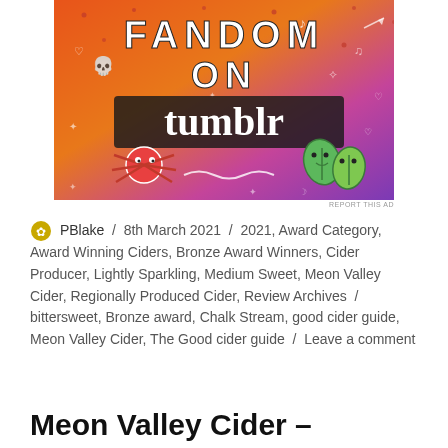[Figure (illustration): Colorful Tumblr 'Fandom on Tumblr' advertisement banner with orange-to-purple gradient background, white doodle icons, bold white/black text reading 'FANDOM ON tumblr', a cartoon spider/crab and leaf characters]
PBlake / 8th March 2021 / 2021, Award Category, Award Winning Ciders, Bronze Award Winners, Cider Producer, Lightly Sparkling, Medium Sweet, Meon Valley Cider, Regionally Produced Cider, Review Archives / bittersweet, Bronze award, Chalk Stream, good cider guide, Meon Valley Cider, The Good cider guide / Leave a comment
Meon Valley Cider –